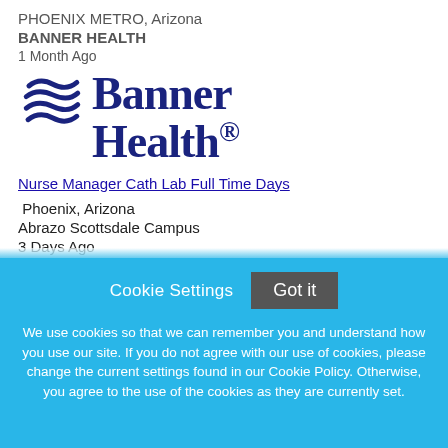PHOENIX METRO, Arizona
BANNER HEALTH
1 Month Ago
[Figure (logo): Banner Health logo with wave graphic and serif text reading 'Banner Health.']
Nurse Manager Cath Lab Full Time Days
Phoenix, Arizona
Abrazo Scottsdale Campus
3 Days Ago
Cookie Settings
Got it
We use cookies so that we can remember you and understand how you use our site. If you do not agree with our use of cookies, please change the current settings found in our Cookie Policy. Otherwise, you agree to the use of the cookies as they are currently set.